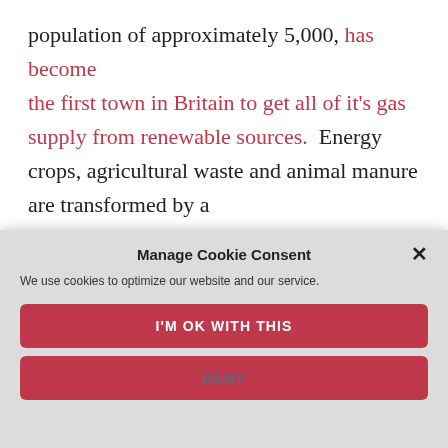population of approximately 5,000, has become the first town in Britain to get all of it's gas supply from renewable sources.  Energy crops, agricultural waste and animal manure are transformed by a
Manage Cookie Consent
We use cookies to optimize our website and our service.
I'M OK WITH THIS
DENY